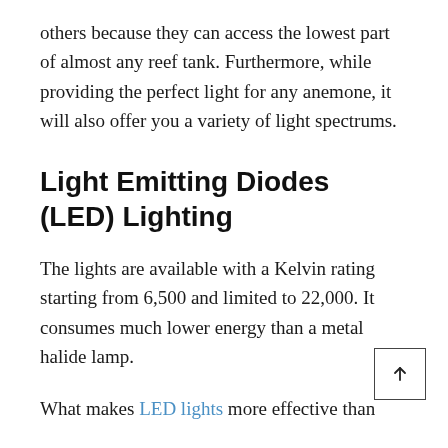others because they can access the lowest part of almost any reef tank. Furthermore, while providing the perfect light for any anemone, it will also offer you a variety of light spectrums.
Light Emitting Diodes (LED) Lighting
The lights are available with a Kelvin rating starting from 6,500 and limited to 22,000. It consumes much lower energy than a metal halide lamp.
What makes LED lights more effective than